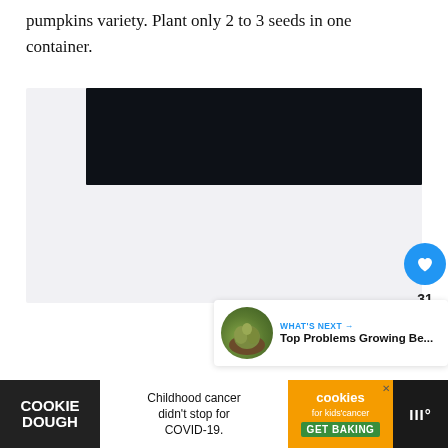pumpkins variety. Plant only 2 to 3 seeds in one container.
[Figure (photo): Dark banner image placeholder in a light gray container area]
[Figure (infographic): What's Next card showing Top Problems Growing Be... with a circular thumbnail image, like button (heart, blue circle), count 31, and share button]
[Figure (infographic): Advertisement bar: Cookie Dough brand, Childhood cancer didn't stop for COVID-19, cookies for kids cancer GET BAKING, and Merriam-Webster logo]